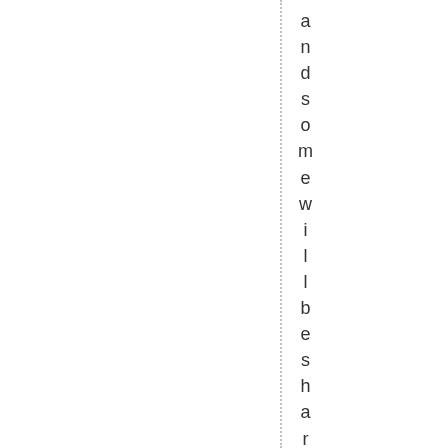and some will be shared here. For [...] ]